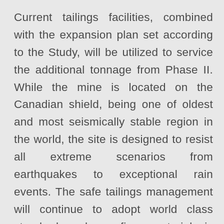Current tailings facilities, combined with the expansion plan set according to the Study, will be utilized to service the additional tonnage from Phase II. While the mine is located on the Canadian shield, being one of oldest and most seismically stable region in the world, the site is designed to resist all extreme scenarios from earthquakes to exceptional rain events. The safe tailings management will continue to adopt world class standards where fine material is separated from coarse material, maximizing each material given their distinct properties and behaviours. This process allows to greatly reduce potentially unstable materials where less than 15% of tailings are categorized as fine